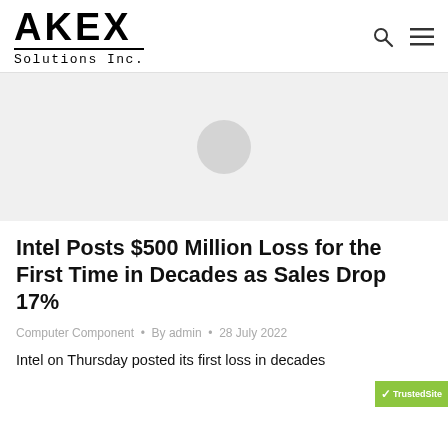[Figure (logo): AKEX Solutions Inc. logo with large bold AKEX text above underline and 'Solutions Inc.' in monospace below]
[Figure (photo): Article featured image placeholder — light gray rectangle with a gray circle in the center]
Intel Posts $500 Million Loss for the First Time in Decades as Sales Drop 17%
Computer Component • By admin • 28 July 2022
Intel on Thursday posted its first loss in decades